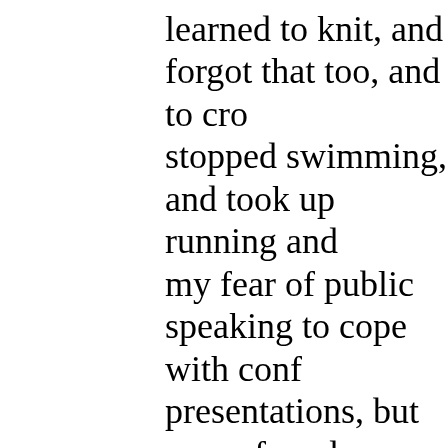learned to knit, and forgot that too, and to cro- stopped swimming, and took up running and my fear of public speaking to cope with conf- presentations, but never found a way to enjoy Vipassana meditation. I fell in and out of love five novels and have finished none of them. I reuse initiatives like Freegle and the SHRUB learning to code, and set up a club for them in university societies like Lincoln CompSoc and SocieTea; organised and helped out with con- hackathons; coordinated events and meetups. academic papers; contributed to open source W3C Recommendations.